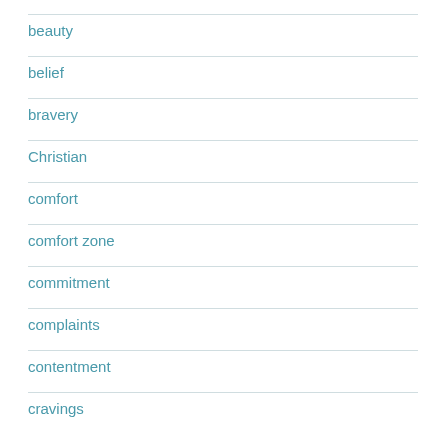beauty
belief
bravery
Christian
comfort
comfort zone
commitment
complaints
contentment
cravings